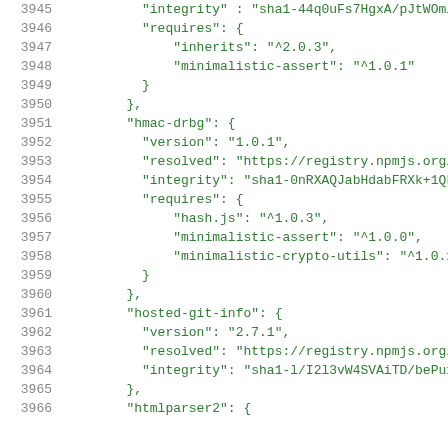3945    integrity : sha1-44q0uFs7HgxA/pJtWOml3F...
3946        "requires": {
3947            "inherits": "^2.0.3",
3948            "minimalistic-assert": "^1.0.1"
3949        }
3950    },
3951    "hmac-drbg": {
3952        "version": "1.0.1",
3953        "resolved": "https://registry.npmjs.org/h...
3954        "integrity": "sha1-0nRXAQJabHdabFRXk+1QL8...
3955        "requires": {
3956            "hash.js": "^1.0.3",
3957            "minimalistic-assert": "^1.0.0",
3958            "minimalistic-crypto-utils": "^1.0.1"
3959        }
3960    },
3961    "hosted-git-info": {
3962        "version": "2.7.1",
3963        "resolved": "https://registry.npmjs.org/h...
3964        "integrity": "sha1-l/I2l3vW4SVAiTD/bePuxi...
3965    },
3966    "htmlparser2": {